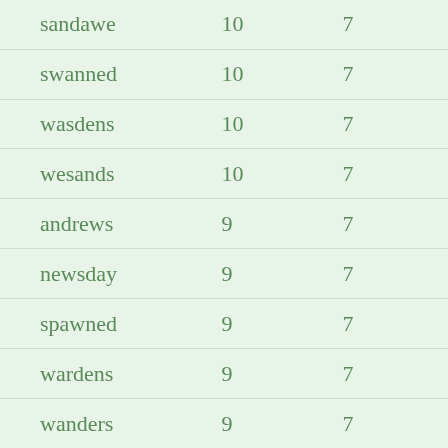| sandawe | 10 | 7 |
| swanned | 10 | 7 |
| wasdens | 10 | 7 |
| wesands | 10 | 7 |
| andrews | 9 | 7 |
| newsday | 9 | 7 |
| spawned | 9 | 7 |
| wardens | 9 | 7 |
| wanders | 9 | 7 |